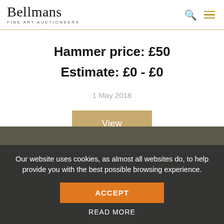Bellmans Fine Art Auctioneers
Hammer price: £50
Estimate: £0 - £0
1 May 2018
View
Our website uses cookies, as almost all websites do, to help provide you with the best possible browsing experience.
ACCEPT
READ MORE